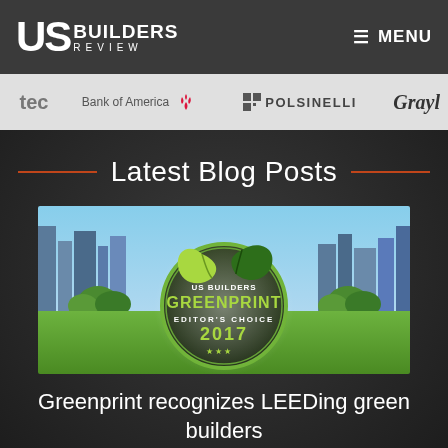US BUILDERS REVIEW | MENU
[Figure (logo): Sponsor logos strip: tec, Bank of America, POLSINELLI, GrayI]
Latest Blog Posts
[Figure (photo): US Builders Review Greenprint Editor's Choice 2017 badge over city skyline with green lawn]
Greenprint recognizes LEEDing green builders
BY BLAKE DAVIS